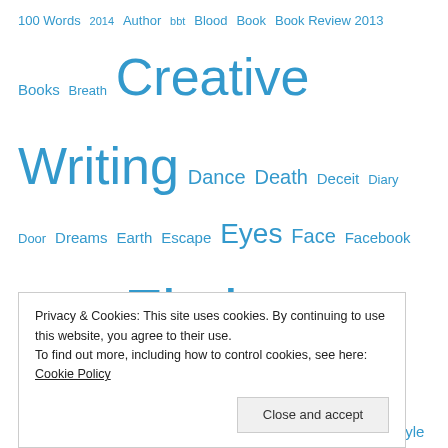100 Words 2014 Author bbt Blood Book Book Review 2013 Books Breath Creative Writing Dance Death Deceit Diary Door Dreams Earth Escape Eyes Face Facebook fear Feet Fiction Flash fiction Free-style writing Free-write Goal Haiku Hands Heart Horror Humanity Kiss Life Light lips Love Lyrics Mirror NewMenu1 Notebook Novel Obsession Pillow Poem Poems Poetic prose Poetry Psychological-horror Psychological-thriller Rain Reading Review
Privacy & Cookies: This site uses cookies. By continuing to use this website, you agree to their use. To find out more, including how to control cookies, see here: Cookie Policy